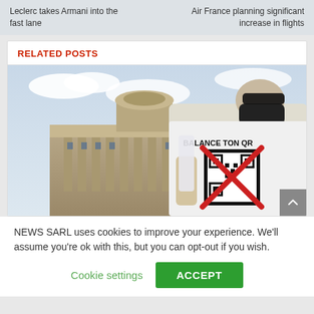Leclerc takes Armani into the fast lane
Air France planning significant increase in flights
RELATED POSTS
[Figure (photo): Person wearing a white 'BALANCE TON QR' t-shirt with a QR code and red X, wearing a black face mask, standing in front of a classical French building (likely Bordeaux city hall), photographed from behind/side.]
NEWS SARL uses cookies to improve your experience. We'll assume you're ok with this, but you can opt-out if you wish.
Cookie settings
ACCEPT